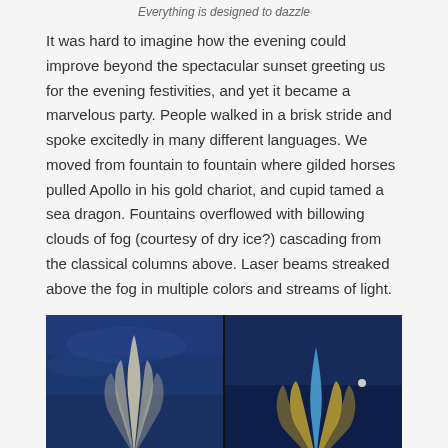Everything is designed to dazzle
It was hard to imagine how the evening could improve beyond the spectacular sunset greeting us for the evening festivities, and yet it became a marvelous party. People walked in a brisk stride and spoke excitedly in many different languages. We moved from fountain to fountain where gilded horses pulled Apollo in his gold chariot, and cupid tamed a sea dragon. Fountains overflowed with billowing clouds of fog (courtesy of dry ice?) cascading from the classical columns above. Laser beams streaked above the fog in multiple colors and streams of light.
[Figure (photo): Two side-by-side nighttime photos of illuminated fountains. Left photo shows a fountain with white water spray against a dark blue sky. Right photo shows a fountain with blue and gold illuminated water jets against a dark blue sky.]